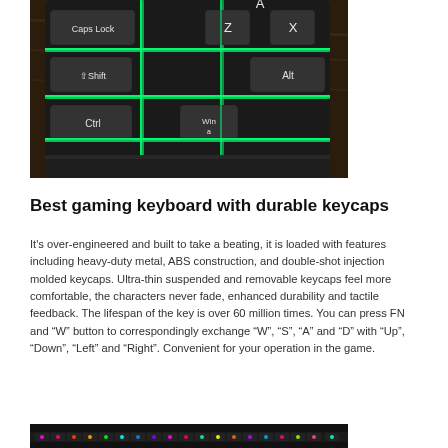[Figure (photo): Close-up photo of a mechanical gaming keyboard with green backlit keys including Caps Lock, Shift, Ctrl, Win, Alt, Z, X, A keys visible on a dark surface.]
Best gaming keyboard with durable keycaps
It's over-engineered and built to take a beating, it is loaded with features including heavy-duty metal, ABS construction, and double-shot injection molded keycaps. Ultra-thin suspended and removable keycaps feel more comfortable, the characters never fade, enhanced durability and tactile feedback. The lifespan of the key is over 60 million times. You can press FN and “W” button to correspondingly exchange “W”, “S”, “A” and “D” with “Up”, “Down”, “Left” and “Right”. Convenient for your operation in the game.
[Figure (photo): Bottom portion of a gaming keyboard with colorful backlighting, partially cropped at the bottom of the page.]